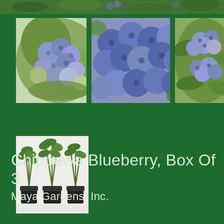[Figure (photo): Top banner strip showing blueberry plant/leaves]
[Figure (photo): Close-up of a cluster of blueberries on a branch with green and blue berries]
[Figure (photo): Close-up cluster of ripe dark blue blueberries filling the frame]
[Figure (photo): Blueberries on bush with green leaves visible]
[Figure (photo): Three small blueberry plants in black pots on white surface]
Chippewa Blueberry, Box Of 3
Maya Gardens, Inc.